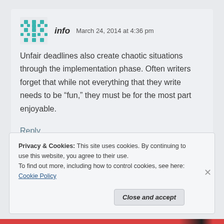info  March 24, 2014 at 4:36 pm
Unfair deadlines also create chaotic situations through the implementation phase. Often writers forget that while not everything that they write needs to be “fun,” they must be for the most part enjoyable.
Reply
Privacy & Cookies: This site uses cookies. By continuing to use this website, you agree to their use.
To find out more, including how to control cookies, see here: Cookie Policy